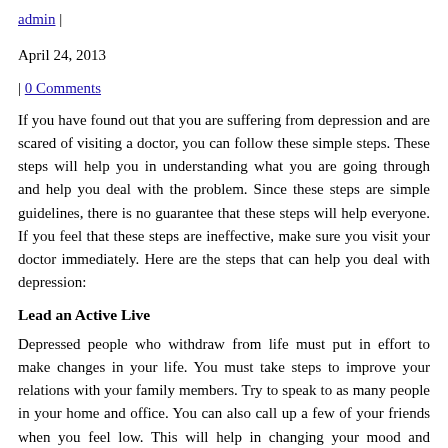admin |
April 24, 2013
| 0 Comments
If you have found out that you are suffering from depression and are scared of visiting a doctor, you can follow these simple steps. These steps will help you in understanding what you are going through and help you deal with the problem. Since these steps are simple guidelines, there is no guarantee that these steps will help everyone. If you feel that these steps are ineffective, make sure you visit your doctor immediately. Here are the steps that can help you deal with depression:
Lead an Active Live
Depressed people who withdraw from life must put in effort to make changes in your life. You must take steps to improve your relations with your family members. Try to speak to as many people in your home and office. You can also call up a few of your friends when you feel low. This will help in changing your mood and improve your self-esteem.